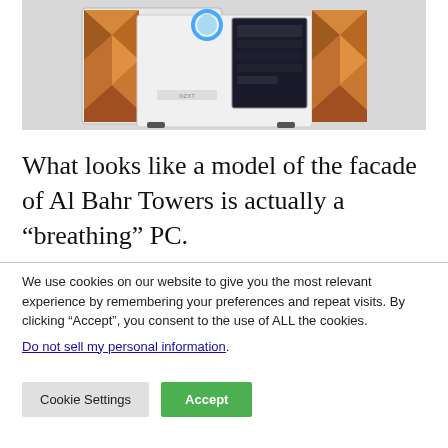[Figure (photo): A white PC tower case with copper/bronze geometric diamond-pattern panels on the sides, an open side panel revealing internals, and a glowing ring on the front top. The case sits on a light gray background.]
What looks like a model of the facade of Al Bahr Towers is actually a “breathing” PC.
We use cookies on our website to give you the most relevant experience by remembering your preferences and repeat visits. By clicking “Accept”, you consent to the use of ALL the cookies.
Do not sell my personal information.
Cookie Settings  Accept